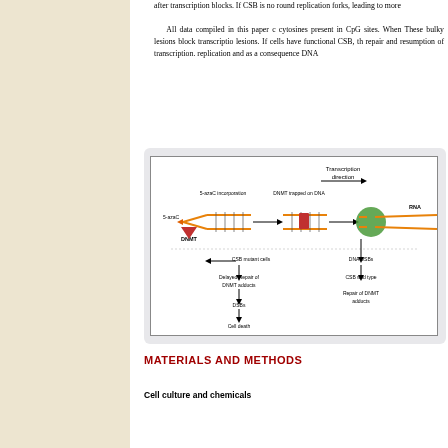after transcription blocks. If CSB is no round replication forks, leading to more
All data compiled in this paper o cytosines present in CpG sites. When These bulky lesions block transcriptio lesions. If cells have functional CSB, th repair and resumption of transcription. replication and as a consequence DNA
[Figure (schematic): Schematic diagram showing DNA methylation and transcription-coupled repair mechanism. Shows 5-azaC incorporation, DNMT trapped on DNA, transcription direction, RNA polymerase, CSB mutant cells with delayed repair of DNMT adducts leading to DSBs and cell death, and CSB wild type with repair of DNMT adducts.]
MATERIALS AND METHODS
Cell culture and chemicals